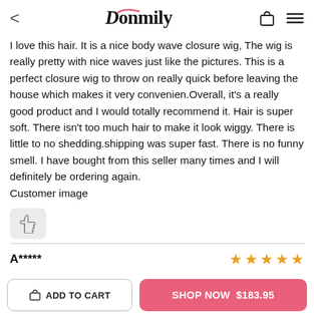Donmily (logo header)
I love this hair. It is a nice body wave closure wig, The wig is really pretty with nice waves just like the pictures. This is a perfect closure wig to throw on really quick before leaving the house which makes it very convenien.Overall, it's a really good product and I would totally recommend it. Hair is super soft. There isn't too much hair to make it look wiggy. There is little to no shedding.shipping was super fast. There is no funny smell. I have bought from this seller many times and I will definitely be ordering again.
Customer image
[Figure (illustration): Thumbs up like button icon in a rounded rectangle]
A*****
★★★★★